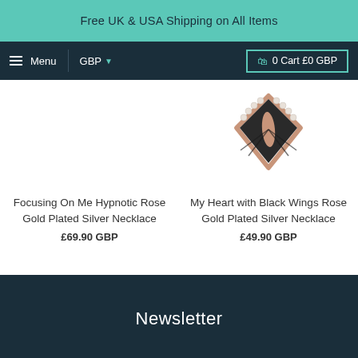Free UK & USA Shipping on All Items
Menu  GBP  0 Cart £0 GBP
[Figure (photo): Partial view of a rose gold plated silver necklace with a heart shape decorated with black wings and pearls]
Focusing On Me Hypnotic Rose Gold Plated Silver Necklace
£69.90 GBP
My Heart with Black Wings Rose Gold Plated Silver Necklace
£49.90 GBP
Newsletter